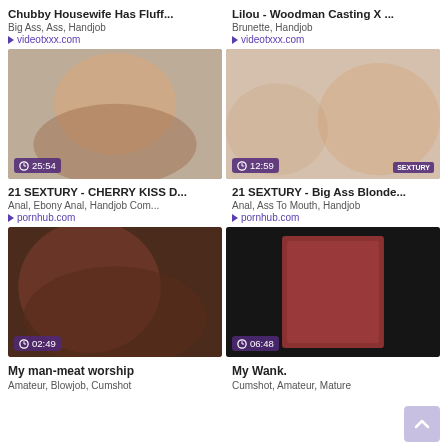Chubby Housewife Has Fluff...
Big Ass, Ass, Handjob
▶ videotxxx.com
Lilou - Woodman Casting X ...
Brunette, Handjob
▶ videotxxx.com
[Figure (photo): Video thumbnail with duration 25:54]
[Figure (photo): Video thumbnail with duration 12:59 and SEXTURY badge]
21 SEXTURY - CHERRY KISS D...
Anal, Ebony Anal, Handjob Com...
▶ pornhub.com
21 SEXTURY - Big Ass Blonde...
Anal, Ass To Mouth, Handjob
▶ pornhub.com
[Figure (photo): Video thumbnail with duration 02:49]
[Figure (photo): Video thumbnail with duration 06:48]
My man-meat worship
Amateur, Blowjob, Cumshot
My Wank.
Cumshot, Amateur, Mature